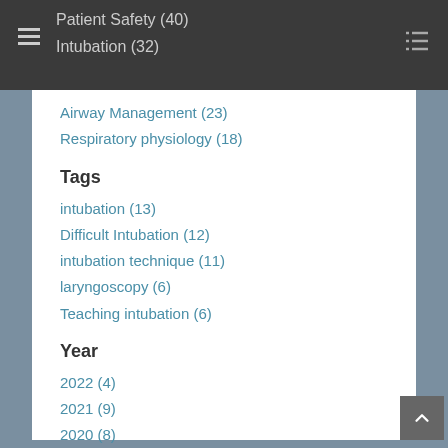Patient Safety (40)
Intubation (32)
Airway Management (23)
Respiratory physiology (18)
Tags
intubation (13)
Difficult Intubation (12)
intubation technique (11)
laryngoscopy (6)
Teaching intubation (6)
Year
2022 (4)
2021 (9)
2020 (8)
2019 (10)
2018 (14)